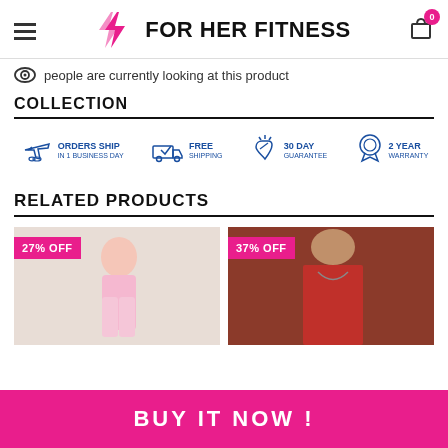FOR HER FITNESS
people are currently looking at this product
COLLECTION
[Figure (infographic): Four shipping/guarantee badges in blue: ORDERS SHIP IN 1 BUSINESS DAY, FREE SHIPPING, 30 DAY GUARANTEE, 2 YEAR WARRANTY]
RELATED PRODUCTS
[Figure (photo): Woman in pink sportswear taking a selfie with 27% OFF badge]
[Figure (photo): Woman in red tube top with 37% OFF badge]
BUY IT NOW !